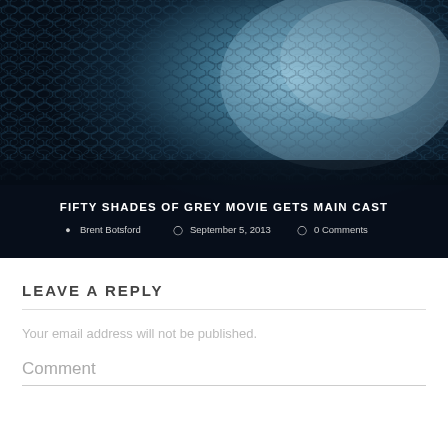[Figure (photo): Dark moody close-up photo of metallic chain-link or scale texture in dark teal/blue tones, with text overlay showing article title and metadata]
FIFTY SHADES OF GREY MOVIE GETS MAIN CAST
Brent Botsford  September 5, 2013  0 Comments
LEAVE A REPLY
Your email address will not be published.
Comment